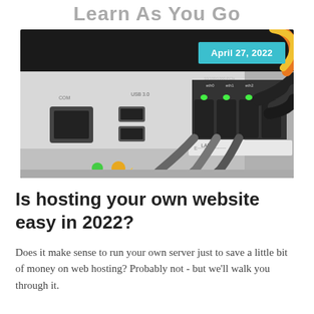Learn As You Go
[Figure (photo): Close-up photo of a network router/server device with ethernet cables plugged in, showing USB ports, ethernet ports labeled eth0, eth1, eth2, and a label reading 10/100/1000 PCIe. Green indicator lights visible. Orange and black cables in background.]
Is hosting your own website easy in 2022?
Does it make sense to run your own server just to save a little bit of money on web hosting? Probably not - but we'll walk you through it.